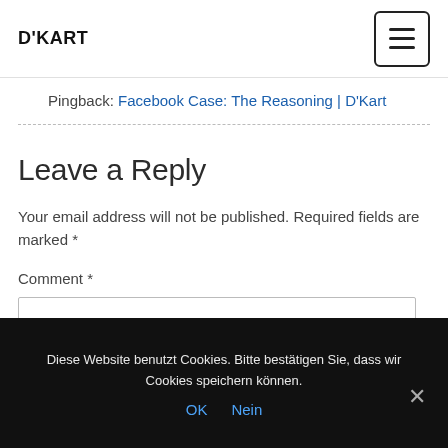D'KART
Pingback: Facebook Case: The Reasoning | D'Kart
Leave a Reply
Your email address will not be published. Required fields are marked *
Comment *
Diese Website benutzt Cookies. Bitte bestätigen Sie, dass wir Cookies speichern können. OK Nein